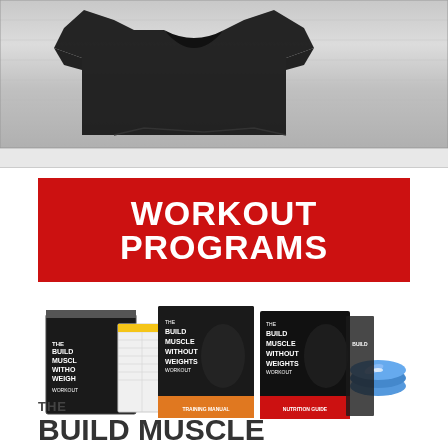[Figure (photo): Black folded t-shirt on metallic brushed steel background]
[Figure (infographic): Red banner with white bold text reading WORKOUT PROGRAMS]
[Figure (photo): Product bundle showing Build Muscle Without Weights workout program books, training manual, nutrition guide, and DVD discs]
THE
BUILD MUSCLE WITHOUT WEIGHTS